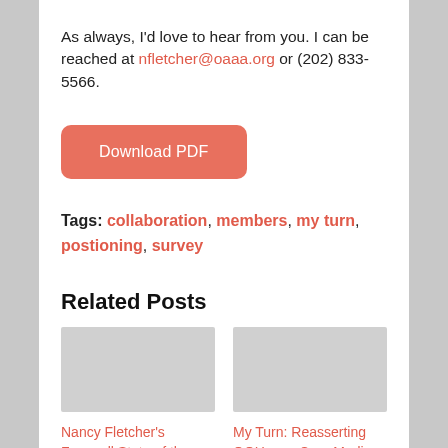As always, I'd love to hear from you. I can be reached at nfletcher@oaaa.org or (202) 833-5566.
[Figure (other): Red/salmon colored Download PDF button]
Tags: collaboration, members, my turn, postioning, survey
Related Posts
[Figure (other): Gray placeholder image for Nancy Fletcher's Farewell State of the Industry Address post]
Nancy Fletcher's Farewell State of the Industry Address →
[Figure (other): Gray placeholder image for My Turn: Reasserting OOH as a Core Media Buy post]
My Turn: Reasserting OOH as a Core Media Buy